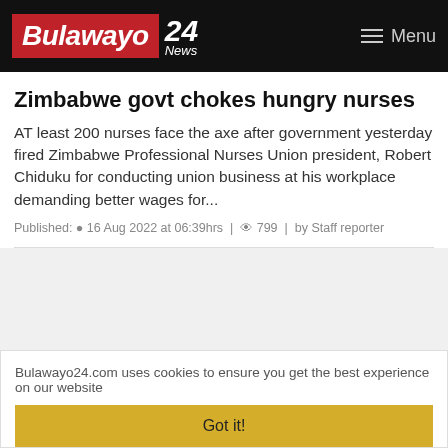Bulawayo 24 News — Menu
Zimbabwe govt chokes hungry nurses
AT least 200 nurses face the axe after government yesterday fired Zimbabwe Professional Nurses Union president, Robert Chiduku for conducting union business at his workplace demanding better wages for...
Published: 16 Aug 2022 at 06:39hrs | 799 | by Staff reporter
Bulawayo24.com uses cookies to ensure you get the best experience on our website
Got it!
Mnangagwa congratulates Kenyan President-